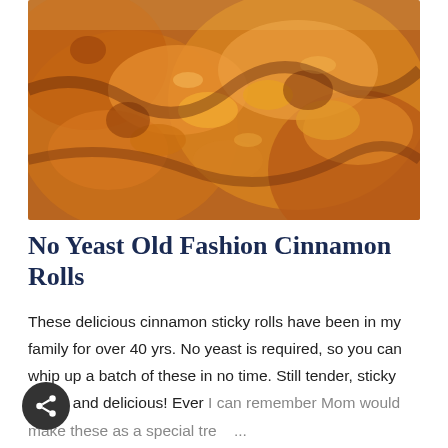[Figure (photo): Close-up photo of freshly baked cinnamon rolls with sticky caramel glaze on top]
No Yeast Old Fashion Cinnamon Rolls
These delicious cinnamon sticky rolls have been in my family for over 40 yrs. No yeast is required, so you can whip up a batch of these in no time. Still tender, sticky sweet and delicious! Ever I can remember Mom would make these as a special tre ...